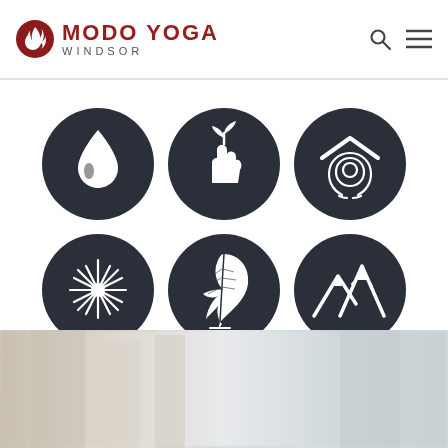[Figure (logo): Modo Yoga Windsor logo with flame icon in dark red circle, bold red text MODO YOGA and subtitle WINDSOR]
[Figure (infographic): Six dark circular icons arranged in 2 rows of 3: water drop, hand holding plant sprout, fingerprint under roof, starburst/sun, feather quill, mountain peaks]
[Figure (photo): Blurred background photo of a yoga studio interior with soft beige and grey tones]